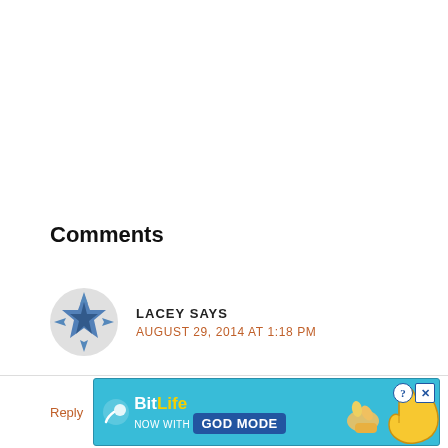Comments
LACEY SAYS
AUGUST 29, 2014 AT 1:18 PM
Every tutorial you post is superb! Thank you for this!
[Figure (illustration): BitLife advertisement banner with logo, 'NOW WITH GOD MODE' text, and a pointing hand illustration on blue background]
Reply